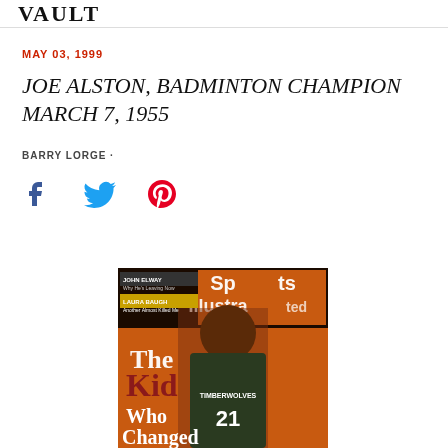VAULT
MAY 03, 1999
JOE ALSTON, BADMINTON CHAMPION MARCH 7, 1955
BARRY LORGE ·
[Figure (other): Social sharing icons: Facebook, Twitter, Pinterest]
[Figure (photo): Sports Illustrated magazine cover featuring a basketball player (Kevin Garnett, #21, Timberwolves) with the headline 'The Kid Who Changed...' and smaller text 'JOHN ELWAY: Why He's Leaving Now' and 'LAURA BAUGH: Another Almost Killed Me']